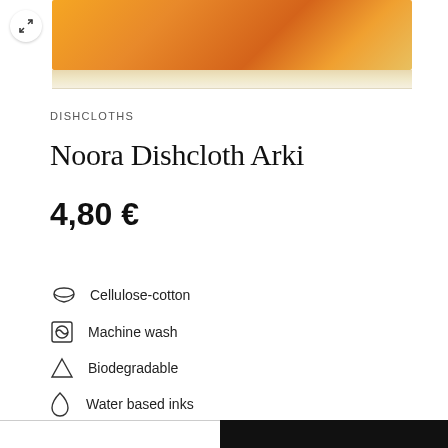[Figure (photo): Product image of Noora Dishcloth Arki with orange/warm toned pattern, shown partially cropped at top with expand icon]
DISHCLOTHS
Noora Dishcloth Arki
4,80 €
Cellulose-cotton
Machine wash
Biodegradable
Water based inks